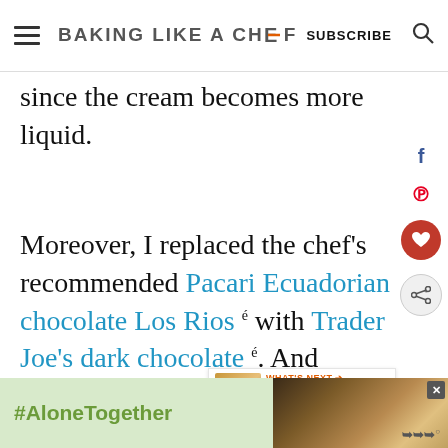BAKING LIKE A CHEF | SUBSCRIBE
since the cream becomes more liquid.
Moreover, I replaced the chef's recommended Pacari Ecuadorian chocolate Los Rios with Trader Joe's dark chocolate. And need many more chocolate chips to
[Figure (screenshot): What's Next widget showing a French Meringue thumbnail image]
[Figure (infographic): Ad banner showing #AloneTogether with a photo of two people and a logo]
#AloneTogether